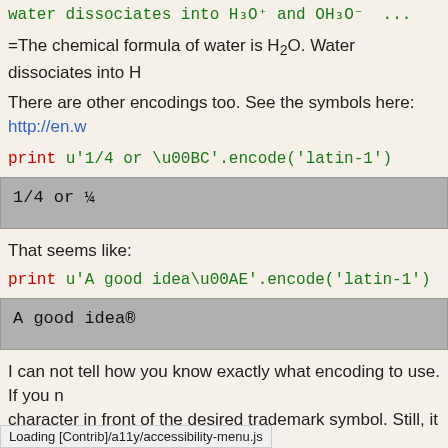water dissociates into H⁺₃O⁺ and OH⁻₃O⁻ ...
=The chemical formula of water is H₂O. Water dissociates into H...
There are other encodings too. See the symbols here: http://en.w...
print u'1/4 or \u00BC'.encode('latin-1')
1/4 or ¼
That seems like:
print u'A good idea\u00AE'.encode('latin-1')
A good idea®
I can not tell how you know exactly what encoding to use. If you n... character in front of the desired trademark symbol. Still, it is inter...
Copyright (C) 2014 by John Kitchin. See the License for informat...
org-mode source
Loading [Contrib]/a11y/accessibility-menu.js